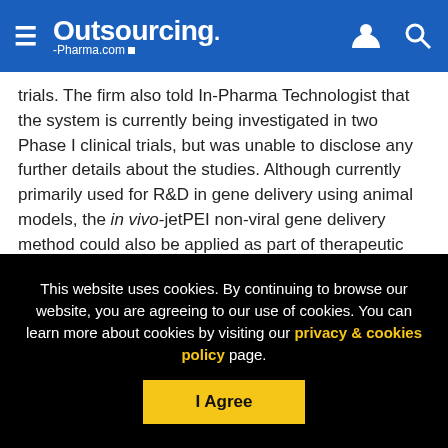Outsourcing-Pharma.com
trials. The firm also told In-Pharma Technologist that the system is currently being investigated in two Phase I clinical trials, but was unable to disclose any further details about the studies. Although currently primarily used for R&D in gene delivery using animal models, the in vivo-jetPEI non-viral gene delivery method could also be applied as part of therapeutic treatment for cancer.
[Figure (logo): Outsourcing-Pharma.com logo displayed on a light blue background with a partial image of a tablet device]
This website uses cookies. By continuing to browse our website, you are agreeing to our use of cookies. You can learn more about cookies by visiting our privacy & cookies policy page.